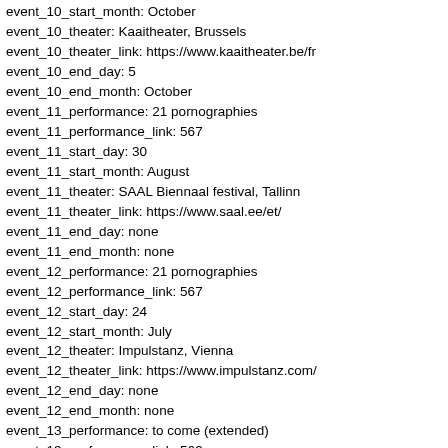event_10_start_month: October
event_10_theater: Kaaitheater, Brussels
event_10_theater_link: https://www.kaaitheater.be/fr
event_10_end_day: 5
event_10_end_month: October
event_11_performance: 21 pornographies
event_11_performance_link: 567
event_11_start_day: 30
event_11_start_month: August
event_11_theater: SAAL Biennaal festival, Tallinn
event_11_theater_link: https://www.saal.ee/et/
event_11_end_day: none
event_11_end_month: none
event_12_performance: 21 pornographies
event_12_performance_link: 567
event_12_start_day: 24
event_12_start_month: July
event_12_theater: Impulstanz, Vienna
event_12_theater_link: https://www.impulstanz.com/
event_12_end_day: none
event_12_end_month: none
event_13_performance: to come (extended)
event_13_performance_link: 563